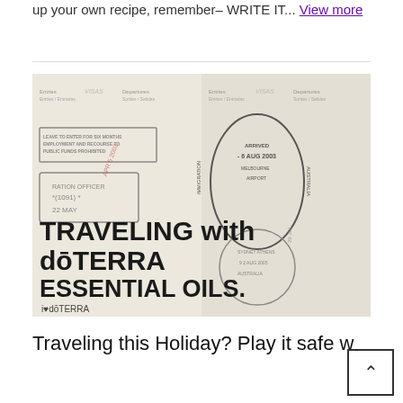up your own recipe, remember– WRITE IT... View more
[Figure (photo): Passport pages with stamps overlaid with text 'TRAVELING with dōTERRA ESSENTIAL OILS. i♥dōTERRA']
Traveling this Holiday? Play it safe w...